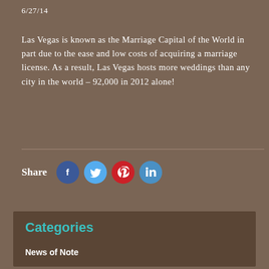6/27/14
Las Vegas is known as the Marriage Capital of the World in part due to the ease and low costs of acquiring a marriage license. As a result, Las Vegas hosts more weddings than any city in the world – 92,000 in 2012 alone!
[Figure (infographic): Share buttons row with Facebook, Twitter, Pinterest, and LinkedIn social media icons]
Categories
News of Note